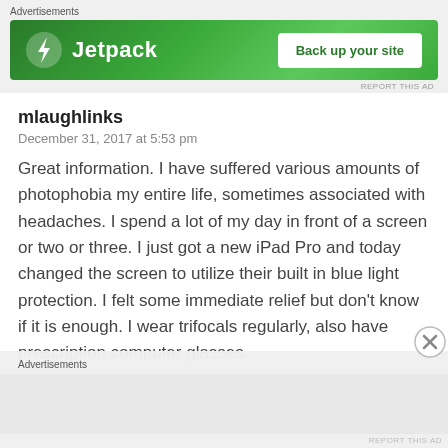[Figure (screenshot): Jetpack advertisement banner with green background, Jetpack logo and lightning bolt icon on left, 'Back up your site' white button on right]
mlaughlinks
December 31, 2017 at 5:53 pm
Great information. I have suffered various amounts of photophobia my entire life, sometimes associated with headaches. I spend a lot of my day in front of a screen or two or three. I just got a new iPad Pro and today changed the screen to utilize their built in blue light protection. I felt some immediate relief but don't know if it is enough. I wear trifocals regularly, also have prescription computer glasses.
Advertisements